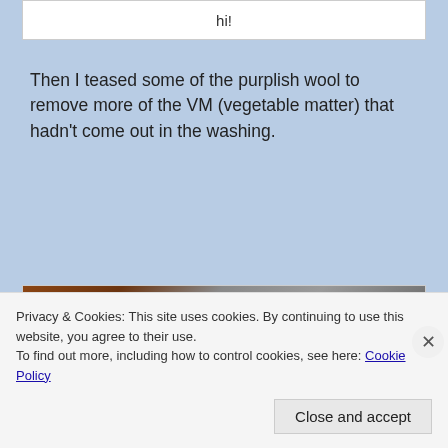hi!
Then I teased some of the purplish wool to remove more of the VM (vegetable matter) that hadn't come out in the washing.
[Figure (photo): A photo showing purplish/grey wool being teased, with a dark and brown background.]
Privacy & Cookies: This site uses cookies. By continuing to use this website, you agree to their use.
To find out more, including how to control cookies, see here: Cookie Policy
Close and accept